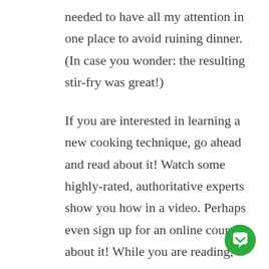needed to have all my attention in one place to avoid ruining dinner. (In case you wonder: the resulting stir-fry was great!)

If you are interested in learning a new cooking technique, go ahead and read about it! Watch some highly-rated, authoritative experts show you how in a video. Perhaps even sign up for an online course about it! While you are reading, read. While you are watching, watch. While you are taking the course, take notes and learn. Then, do.
[Figure (other): Green circular chat/feedback button with white speech bubble icon in the bottom-right corner]